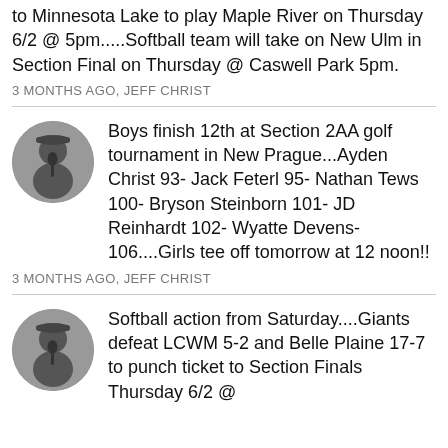to Minnesota Lake to play Maple River on Thursday 6/2 @ 5pm.....Softball team will take on New Ulm in Section Final on Thursday @ Caswell Park 5pm.
3 MONTHS AGO, JEFF CHRIST
[Figure (photo): Black and white circular avatar photo of a person wearing a baseball cap, speaking into a microphone]
Boys finish 12th at Section 2AA golf tournament in New Prague...Ayden Christ 93- Jack Feterl 95- Nathan Tews 100- Bryson Steinborn 101- JD Reinhardt 102- Wyatte Devens- 106....Girls tee off tomorrow at 12 noon!!
3 MONTHS AGO, JEFF CHRIST
[Figure (photo): Black and white circular avatar photo of a person wearing a baseball cap, speaking into a microphone]
Softball action from Saturday....Giants defeat LCWM 5-2 and Belle Plaine 17-7 to punch ticket to Section Finals Thursday 6/2 @